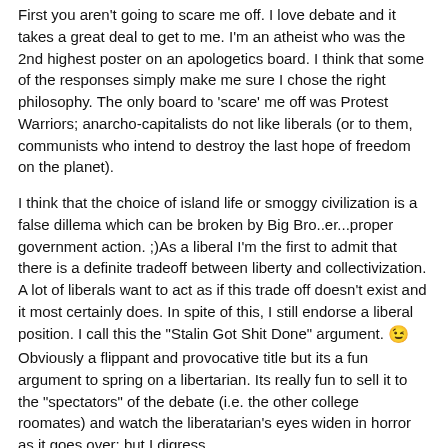First you aren't going to scare me off. I love debate and it takes a great deal to get to me. I'm an atheist who was the 2nd highest poster on an apologetics board. I think that some of the responses simply make me sure I chose the right philosophy. The only board to 'scare' me off was Protest Warriors; anarcho-capitalists do not like liberals (or to them, communists who intend to destroy the last hope of freedom on the planet).
I think that the choice of island life or smoggy civilization is a false dillema which can be broken by Big Bro..er...proper government action. ;)As a liberal I'm the first to admit that there is a definite tradeoff between liberty and collectivization. A lot of liberals want to act as if this trade off doesn't exist and it most certainly does. In spite of this, I still endorse a liberal position. I call this the "Stalin Got Shit Done" argument. 😉 Obviously a flippant and provocative title but its a fun argument to spring on a libertarian. Its really fun to sell it to the "spectators" of the debate (i.e. the other college roomates) and watch the liberatarian's eyes widen in horror as it goes over; but I digress.
Would I be correct in saying that government regulation of pollution, the artificial 'ceiling' imposed heavy-handedly from above, is something you oppose of in principle only? Do you also